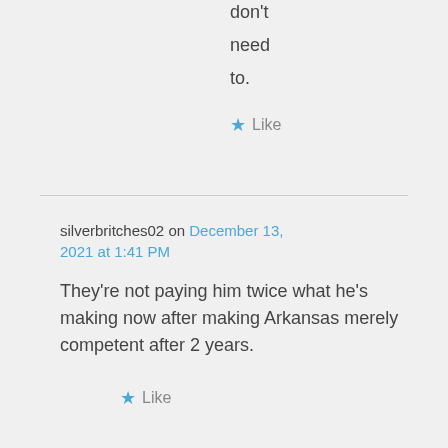don't need to.
★ Like
silverbritches02 on December 13, 2021 at 1:41 PM
They're not paying him twice what he's making now after making Arkansas merely competent after 2 years.
★ Like